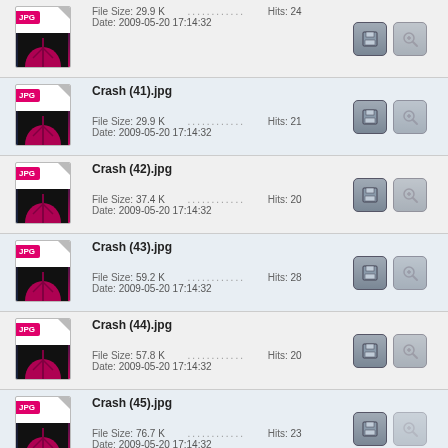| Icon | File Info | Actions |
| --- | --- | --- |
| [JPG icon] | File Size: 29.9 K   Hits: 24
Date: 2009-05-20 17:14:32 | [save][zoom] |
| [JPG icon] | Crash (41).jpg
File Size: 29.9 K   Hits: 21
Date: 2009-05-20 17:14:32 | [save][zoom] |
| [JPG icon] | Crash (42).jpg
File Size: 37.4 K   Hits: 20
Date: 2009-05-20 17:14:32 | [save][zoom] |
| [JPG icon] | Crash (43).jpg
File Size: 59.2 K   Hits: 28
Date: 2009-05-20 17:14:32 | [save][zoom] |
| [JPG icon] | Crash (44).jpg
File Size: 57.8 K   Hits: 20
Date: 2009-05-20 17:14:32 | [save][zoom] |
| [JPG icon] | Crash (45).jpg
File Size: 76.7 K   Hits: 23
Date: 2009-05-20 17:14:32 | [save][zoom] |
| [JPG icon] | Crash (46).jpg | [save][zoom] |